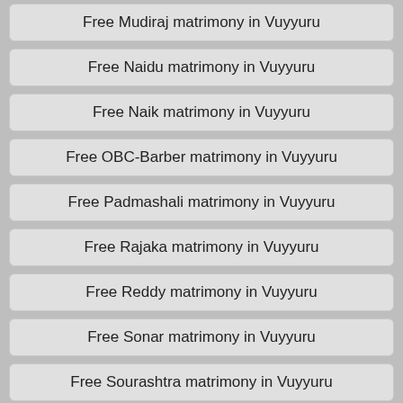Free Mudiraj matrimony in Vuyyuru
Free Naidu matrimony in Vuyyuru
Free Naik matrimony in Vuyyuru
Free OBC-Barber matrimony in Vuyyuru
Free Padmashali matrimony in Vuyyuru
Free Rajaka matrimony in Vuyyuru
Free Reddy matrimony in Vuyyuru
Free Sonar matrimony in Vuyyuru
Free Sourashtra matrimony in Vuyyuru
Free SSK matrimony in Vuyyuru
Free Swarnkar matrimony in Vuyyuru
Free Telaga matrimony in Vuyyuru
Free Vadagalai matrimony in Vuyyuru